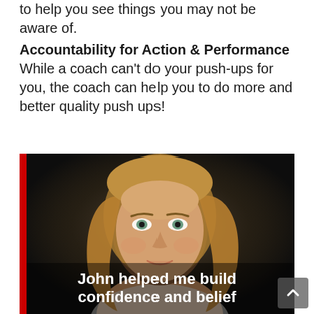to help you see things you may not be aware of.
Accountability for Action & Performance While a coach can't do your push-ups for you, the coach can help you to do more and better quality push ups!
[Figure (photo): Smiling woman with blonde wavy hair against a dark background. Red vertical bar on left side. Overlay text reads: John helped me build confidence and belief]
John helped me build confidence and belief